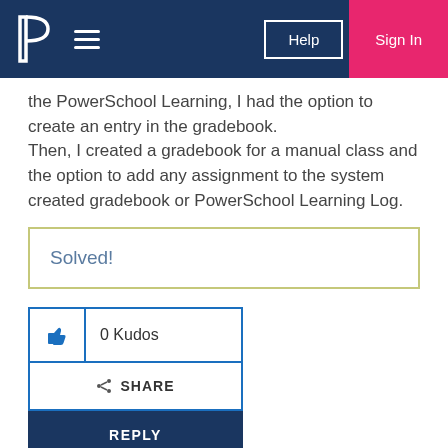[Figure (screenshot): PowerSchool website navigation header with logo, hamburger menu, Help button, and Sign In button]
the PowerSchool Learning, I had the option to create an entry in the gradebook. Then, I created a gradebook for a manual class and the option to add any assignment to the system created gradebook or PowerSchool Learning Log.
Solved!
0 Kudos
SHARE
REPLY